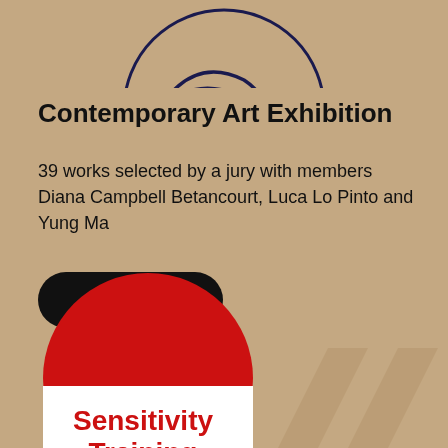[Figure (illustration): Partial view of a circular logo/illustration with dark navy blue curved lines on a tan/beige background, only the bottom portion visible at top of page]
Contemporary Art Exhibition
39 works selected by a jury with members Diana Campbell Betancourt, Luca Lo Pinto and Yung Ma
[Figure (other): Black rounded rectangle button with white text reading 'Explore →']
[Figure (illustration): Red circle with a white horizontal band across the middle. The white band contains red text reading 'Sensitivity Training' in a decorative font. Partially visible geometric shapes (lighter tan parallelogram/rhombus forms) appear in the lower right background.]